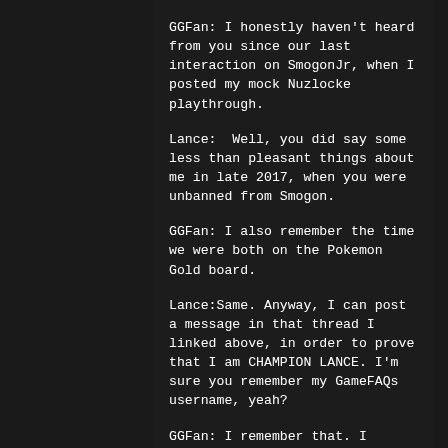GGFan: I honestly haven't heard from you since our last interaction on SmogonJr, when I posted my mock Nuzlocke playthrough.
Lance:  Well, you did say some less than pleasant things about me in late 2017, when you were unbanned from Smogon.
GGFan: I also remember the time we were both on the Pokemon Gold board.
Lance:Same. Anyway, I can post a message in that thread I linked above, in order to prove that I am CHAMPION LANCE. I'm sure you remember my GameFAQs username, yeah?
GGFan: I remember that. I copy/pasted Ari Stella's post only to mock that person in particular, not you.
Lance: No, you also said that I wrote an incoherent novel. And that I am Smogon's...